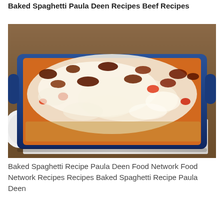Baked Spaghetti Paula Deen Recipes Beef Recipes
[Figure (photo): A blue baking dish filled with baked spaghetti topped with melted cheese and meat sauce, placed on a white cloth napkin on a wooden surface. A white plate is partially visible on the left side.]
Baked Spaghetti Recipe Paula Deen Food Network Food Network Recipes Recipes Baked Spaghetti Recipe Paula Deen